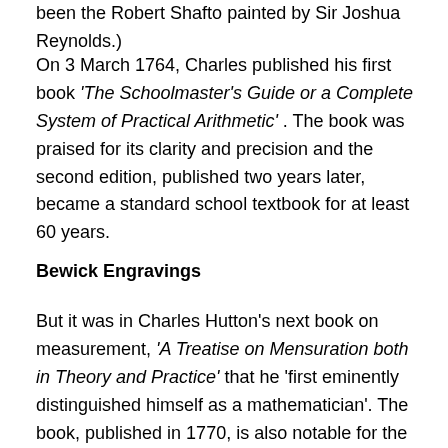been the Robert Shafto painted by Sir Joshua Reynolds.)
On 3 March 1764, Charles published his first book 'The Schoolmaster's Guide or a Complete System of Practical Arithmetic' . The book was praised for its clarity and precision and the second edition, published two years later, became a standard school textbook for at least 60 years.
Bewick Engravings
But it was in Charles Hutton's next book on measurement, 'A Treatise on Mensuration both in Theory and Practice' that he 'first eminently distinguished himself as a mathematician'. The book, published in 1770, is also notable for the diagrams, which were engraved by a 16 year old Thomas Bewick, at this time an apprentice wood engraver.